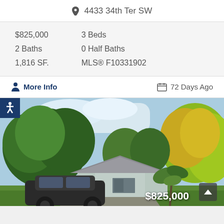4433 34th Ter SW
| $825,000 | 3 Beds |
| 2 Baths | 0 Half Baths |
| 1,816 SF. | MLS® F10331902 |
More Info
72 Days Ago
[Figure (photo): Exterior photo of a single-story residential home with a gray roof, light blue/gray walls, surrounded by lush green and yellow-green tropical trees and plants. A dark SUV (Range Rover) is parked in the driveway. Price overlay $825,000 at bottom right.]